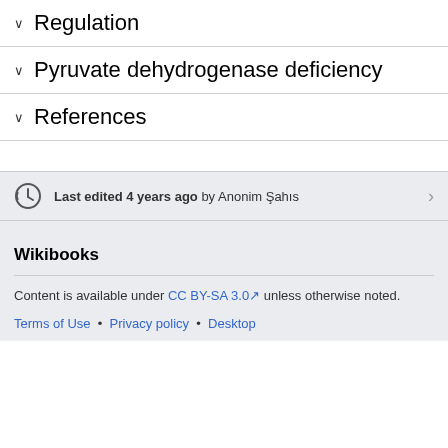∨ Regulation
∨ Pyruvate dehydrogenase deficiency
∨ References
Last edited 4 years ago by Anonim Şahıs
Wikibooks
Content is available under CC BY-SA 3.0 unless otherwise noted.
Terms of Use • Privacy policy • Desktop